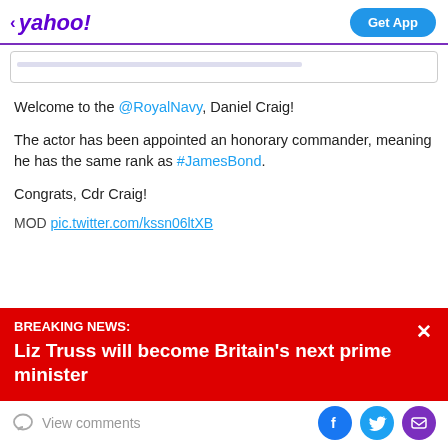yahoo! | Get App
Welcome to the @RoyalNavy, Daniel Craig!
The actor has been appointed an honorary commander, meaning he has the same rank as #JamesBond.
Congrats, Cdr Craig!
MOD pic.twitter.com/kssn06ltXB
BREAKING NEWS: Liz Truss will become Britain's next prime minister
View comments